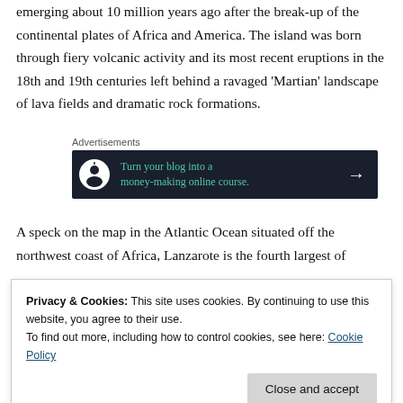emerging about 10 million years ago after the break-up of the continental plates of Africa and America. The island was born through fiery volcanic activity and its most recent eruptions in the 18th and 19th centuries left behind a ravaged 'Martian' landscape of lava fields and dramatic rock formations.
[Figure (other): Advertisement banner with dark background showing 'Turn your blog into a money-making online course.' with arrow]
A speck on the map in the Atlantic Ocean situated off the northwest coast of Africa, Lanzarote is the fourth largest of
Privacy & Cookies: This site uses cookies. By continuing to use this website, you agree to their use.
To find out more, including how to control cookies, see here: Cookie Policy